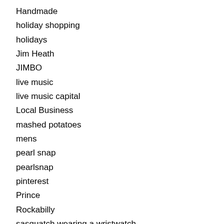Handmade
holiday shopping
holidays
Jim Heath
JIMBO
live music
live music capital
Local Business
mashed potatoes
mens
pearl snap
pearlsnap
pinterest
Prince
Rockabilly
sasquatch wearing a wristwatch
Shopping